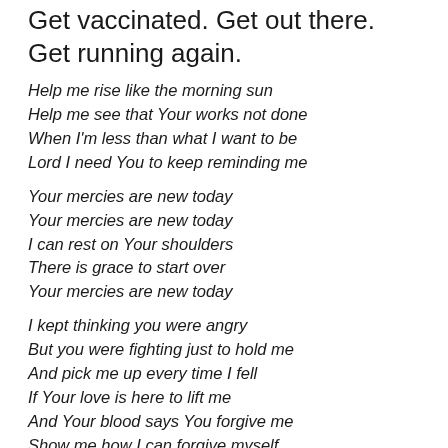Get vaccinated. Get out there. Get running again.
Help me rise like the morning sun
Help me see that Your works not done
When I'm less than what I want to be
Lord I need You to keep reminding me
Your mercies are new today
Your mercies are new today
I can rest on Your shoulders
There is grace to start over
Your mercies are new today
I kept thinking you were angry
But you were fighting just to hold me
And pick me up every time I fell
If Your love is here to lift me
And Your blood says You forgive me
Show me how I can forgive myself
Cause Your mercies are new today